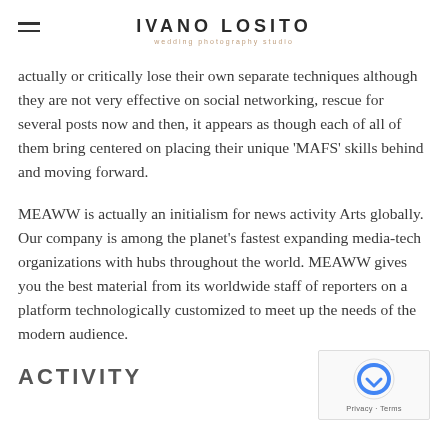IVANO LOSITO — wedding photography studio
actually or critically lose their own separate techniques although they are not very effective on social networking, rescue for several posts now and then, it appears as though each of all of them bring centered on placing their unique 'MAFS' skills behind and moving forward.
MEAWW is actually an initialism for news activity Arts globally. Our company is among the planet's fastest expanding media-tech organizations with hubs throughout the world. MEAWW gives you the best material from its worldwide staff of reporters on a platform technologically customized to meet up the needs of the modern audience.
ACTIVITY